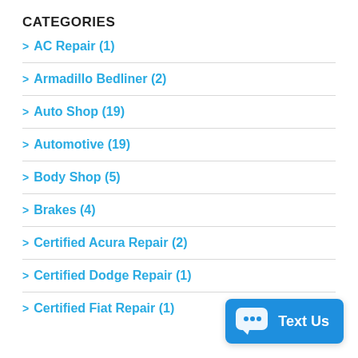CATEGORIES
> AC Repair (1)
> Armadillo Bedliner (2)
> Auto Shop (19)
> Automotive (19)
> Body Shop (5)
> Brakes (4)
> Certified Acura Repair (2)
> Certified Dodge Repair (1)
> Certified Fiat Repair (1)
[Figure (other): Text Us chat button widget in blue]